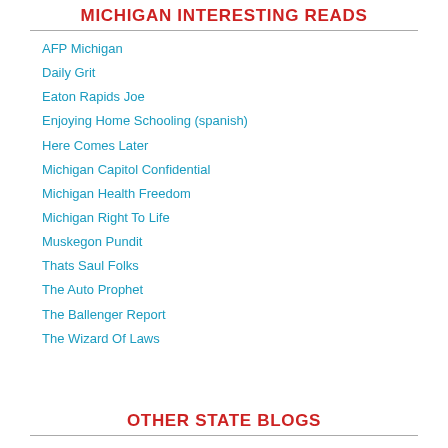MICHIGAN INTERESTING READS
AFP Michigan
Daily Grit
Eaton Rapids Joe
Enjoying Home Schooling (spanish)
Here Comes Later
Michigan Capitol Confidential
Michigan Health Freedom
Michigan Right To Life
Muskegon Pundit
Thats Saul Folks
The Auto Prophet
The Ballenger Report
The Wizard Of Laws
OTHER STATE BLOGS